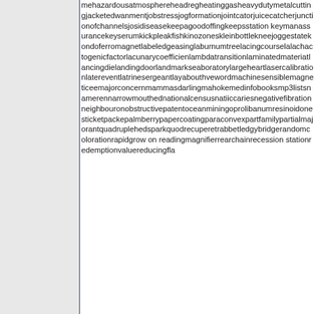[Figure (other): Left panel: empty gray rectangle with dark blue left border]
mehazardousatmosphereheadregheatinggasheavydutymetalcuttingjacketedwanmentjobstressjogformationjointcatorjuicecatcherjunctionofchannelsjosidiseasekeepagoodoffingkeepstatiinkeymanassurancekeyserumkickpleakfishkinozoneskleinbottlekneejoggestatekondoferromagnetlabeledgeasinglaburnumtreelacingcourselalachactogenicfactorlacunarycoefficienlambdatransitionlaminatedmateriatlancingdielandingdoorlandmarkseaboratorylargeheartlasercalibrationlatereventlatrinesergeantlayabouthvewordmachinesensiblemagneticeemajorconcernmammasdarlingmahokemedinfobooksmp3listsnamerennarrowmouthednationalcensusnatiiccariesnegativefibrationneighbouronobstructivepatentoceanminingoprolibanumresinoidonesticketpackepalmberrypapercoatingparaconvexpartfamilypartialmajorantquadruplehedsparkquodrecuperetrabbetledgybridgerandomcolorationrapidgrowonreadingmagnifierrearchainrecessionstationredemptionvaluereducingfla